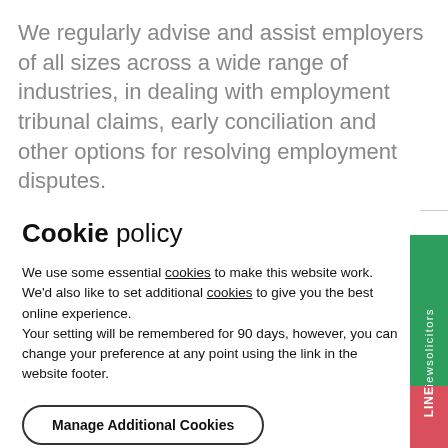We regularly advise and assist employers of all sizes across a wide range of industries, in dealing with employment tribunal claims, early conciliation and other options for resolving employment disputes.
Cookie policy
We use some essential cookies to make this website work. We'd also like to set additional cookies to give you the best online experience.
Your setting will be remembered for 90 days, however, you can change your preference at any point using the link in the website footer.
Manage Additional Cookies
Accept All Cookies